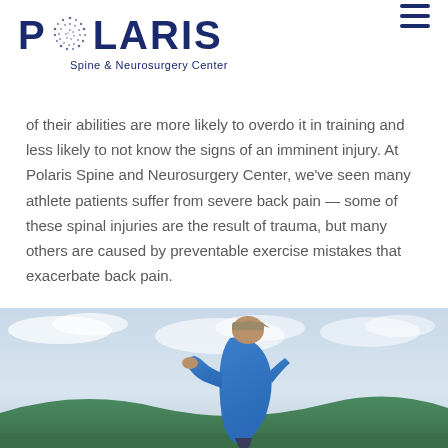POLARIS Spine & Neurosurgery Center
of their abilities are more likely to overdo it in training and less likely to not know the signs of an imminent injury. At Polaris Spine and Neurosurgery Center, we've seen many athlete patients suffer from severe back pain — some of these spinal injuries are the result of trauma, but many others are caused by preventable exercise mistakes that exacerbate back pain.
[Figure (photo): A man in a blue polo shirt and cap holding his neck/shoulder area in apparent pain, outdoors with sky and green hills in background]